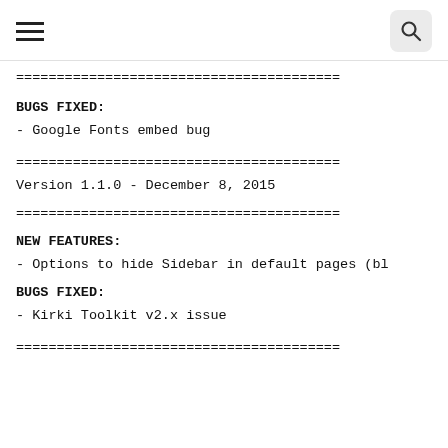≡  🔍
========================================
BUGS FIXED:
- Google Fonts embed bug
========================================
Version 1.1.0 - December 8, 2015
========================================
NEW FEATURES:
- Options to hide Sidebar in default pages (bl
BUGS FIXED:
- Kirki Toolkit v2.x issue
========================================